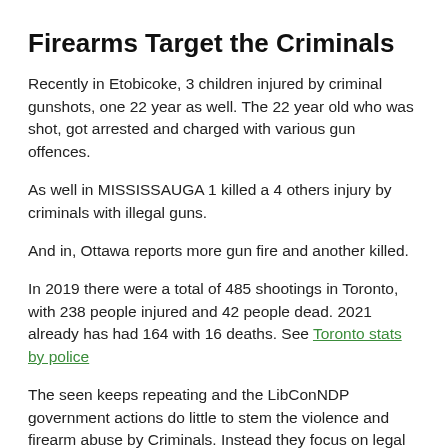Firearms Target the Criminals
Recently in Etobicoke, 3 children injured by criminal gunshots, one 22 year as well. The 22 year old who was shot, got arrested and charged with various gun offences.
As well in MISSISSAUGA 1 killed a 4 others injury by criminals with illegal guns.
And in, Ottawa reports more gun fire and another killed.
In 2019 there were a total of 485 shootings in Toronto, with 238 people injured and 42 people dead. 2021 already has had 164 with 16 deaths. See Toronto stats by police
The seen keeps repeating and the LibConNDP government actions do little to stem the violence and firearm abuse by Criminals. Instead they focus on legal gun owners.